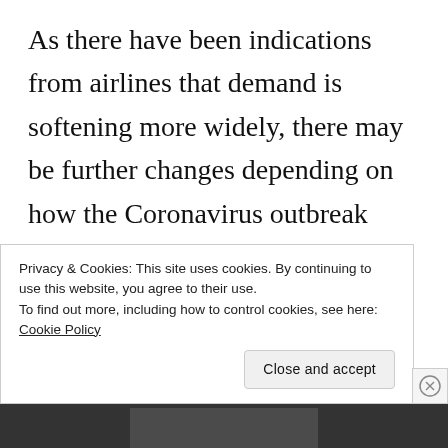As there have been indications from airlines that demand is softening more widely, there may be further changes depending on how the Coronavirus outbreak evolves in the coming weeks.
Also, not all of these changes may be fully reflected in online schedules and
Privacy & Cookies: This site uses cookies. By continuing to use this website, you agree to their use.
To find out more, including how to control cookies, see here: Cookie Policy